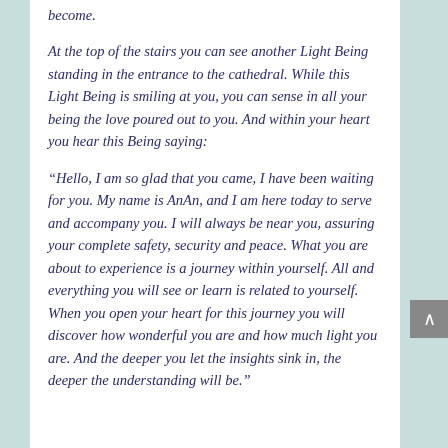become.
At the top of the stairs you can see another Light Being standing in the entrance to the cathedral. While this Light Being is smiling at you, you can sense in all your being the love poured out to you. And within your heart you hear this Being saying:
“Hello, I am so glad that you came, I have been waiting for you. My name is AnAn, and I am here today to serve and accompany you. I will always be near you, assuring your complete safety, security and peace. What you are about to experience is a journey within yourself. All and everything you will see or learn is related to yourself. When you open your heart for this journey you will discover how wonderful you are and how much light you are. And the deeper you let the insights sink in, the deeper the understanding will be.”